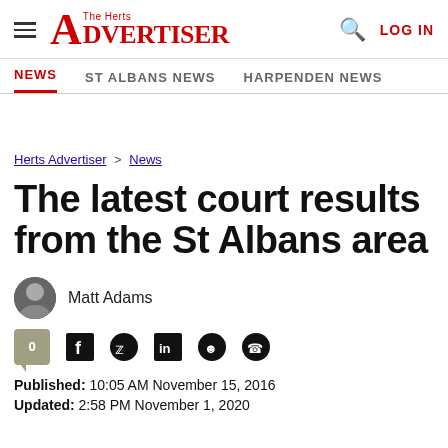The Herts Advertiser — LOG IN
NEWS  ST ALBANS NEWS  HARPENDEN NEWS
Herts Advertiser > News
The latest court results from the St Albans area
Matt Adams
Published: 10:05 AM November 15, 2016
Updated: 2:58 PM November 1, 2020